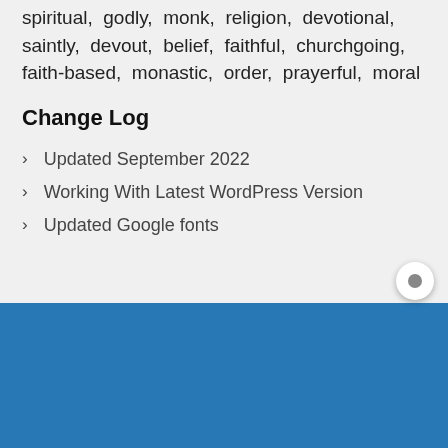spiritual, godly, monk, religion, devotional, saintly, devout, belief, faithful, churchgoing, faith-based, monastic, order, prayerful, moral
Change Log
Updated September 2022
Working With Latest WordPress Version
Updated Google fonts